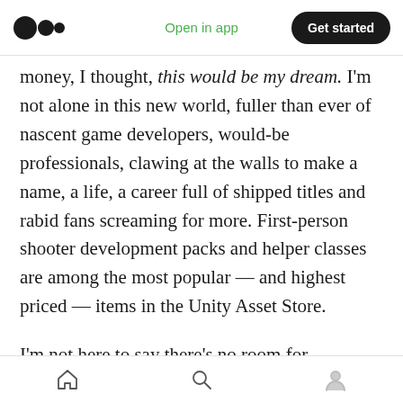Medium logo | Open in app | Get started
money, I thought, this would be my dream. I'm not alone in this new world, fuller than ever of nascent game developers, would-be professionals, clawing at the walls to make a name, a life, a career full of shipped titles and rabid fans screaming for more. First-person shooter development packs and helper classes are among the most popular — and highest priced — items in the Unity Asset Store.
I'm not here to say there's no room for innovation in this space, especially from its fans
Home | Search | Profile